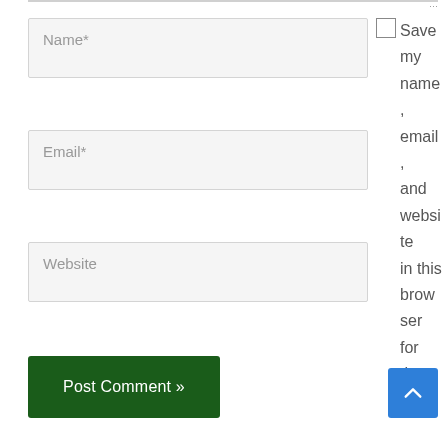[Figure (screenshot): Web comment form screenshot showing Name, Email, Website input fields, a checkbox with label 'Save my name, email, and website in this browser for the next time I comment.', a green Post Comment button, and a blue scroll-to-top button.]